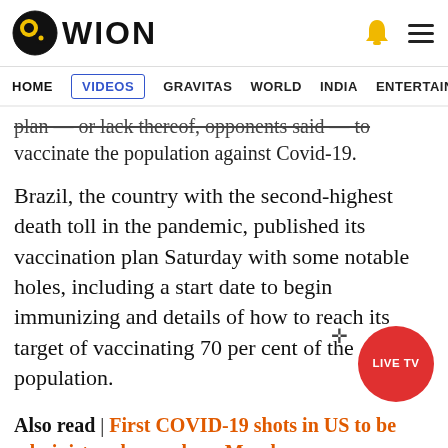[Figure (logo): WION news website header with logo (circular black/yellow icon) and 'WION' text, plus bell and hamburger icons]
HOME  VIDEOS  GRAVITAS  WORLD  INDIA  ENTERTAINMENT  SPORTS
plan — or lack thereof, opponents said — to vaccinate the population against Covid-19.
Brazil, the country with the second-highest death toll in the pandemic, published its vaccination plan Saturday with some notable holes, including a start date to begin immunizing and details of how to reach its target of vaccinating 70 per cent of the population.
Also read | First COVID-19 shots in US to be administered as early as Monday